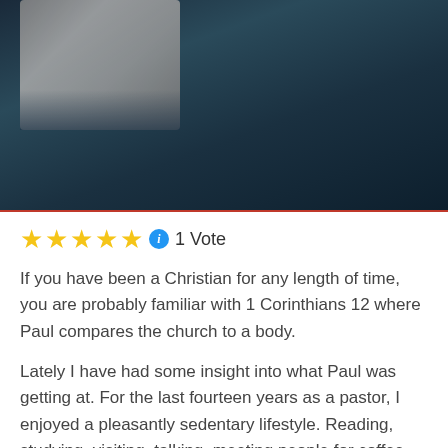[Figure (photo): Dark-toned image with a person visible in the upper-left area against a dark blue-teal background]
★★★★★ ℹ 1 Vote
If you have been a Christian for any length of time, you are probably familiar with 1 Corinthians 12 where Paul compares the church to a body.
Lately I have had some insight into what Paul was getting at. For the last fourteen years as a pastor, I enjoyed a pleasantly sedentary lifestyle. Reading, studying, visiting, talking, meeting people for coffee, lunch, or dinner. In short my days consisted of copious amounts of sitting. Sure, there was standing involved like when I was preaching, teaching a class, or speaking, but that was usually standing